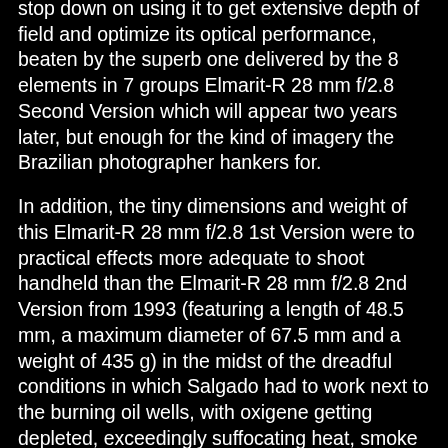stop down on using it to get extensive depth of field and optimize its optical performance, beaten by the superb one delivered by the 8 elements in 7 groups Elmarit-R 28 mm f/2.8 Second Version which will appear two years later, but enough for the kind of imagery the Brazilian photographer hankers for.
In addition, the tiny dimensions and weight of this Elmarit-R 28 mm f/2.8 1st Version were to practical effects more adequate to shoot handheld than the Elmarit-R 28 mm f/2.8 2nd Version from 1993 (featuring a length of 48.5 mm, a maximum diameter of 67.5 mm and a weight of 435 g) in the midst of the dreadful conditions in which Salgado had to work next to the burning oil wells, with oxigene getting depleted, exceedingly suffocating heat, smoke blocking out the sunlight and the photographer sweating buckets at every moment, so the 160 g less and the almost 1 cm shorter length of the first version lens were helpful.